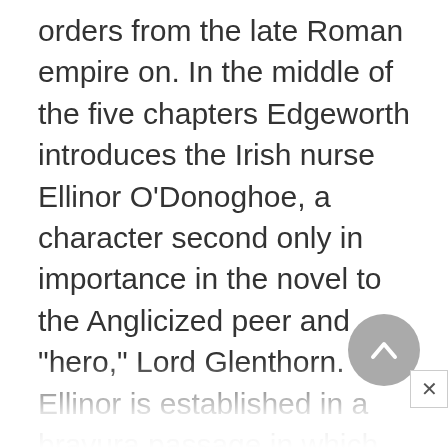orders from the late Roman empire on. In the middle of the five chapters Edgeworth introduces the Irish nurse Ellinor O'Donoghoe, a character second only in importance in the novel to the Anglicized peer and "hero," Lord Glenthorn. Ellinor is established in a bravura passage in which Glenthorn, the tale's official narrator, inexactly recollects the tales Ellinor told him of Irish history and myth as he lay concussed on his sickbed. After this, in chapter IV Glenthorn experiences one